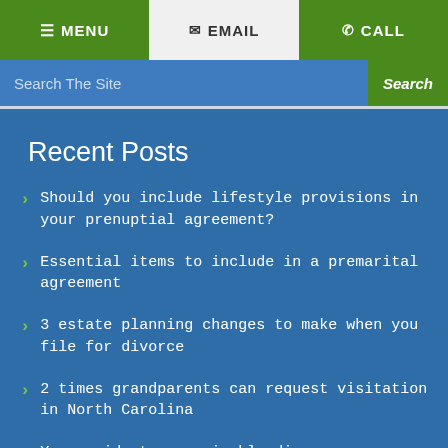≡ MENU   ✉ EMAIL   ✆ CALL
Search The Site   Search
Recent Posts
Should you include lifestyle provisions in your prenuptial agreement?
Essential items to include in a premarital agreement
3 estate planning changes to make when you file for divorce
2 times grandparents can request visitation in North Carolina
Your guide to an amicable divorce